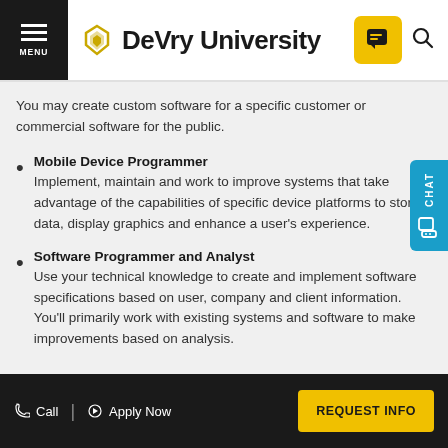DeVry University
You may create custom software for a specific customer or commercial software for the public.
Mobile Device Programmer
Implement, maintain and work to improve systems that take advantage of the capabilities of specific device platforms to store data, display graphics and enhance a user's experience.
Software Programmer and Analyst
Use your technical knowledge to create and implement software specifications based on user, company and client information. You'll primarily work with existing systems and software to make improvements based on analysis.
Call | Apply Now | REQUEST INFO